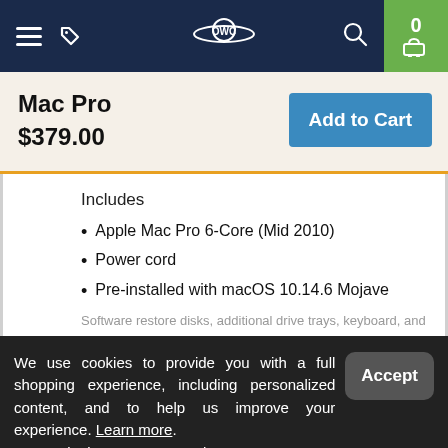[Figure (screenshot): OWC website navigation bar with hamburger menu, tag icon, OWC logo, search icon, and cart (0 items) on dark navy background with green cart button.]
Mac Pro
$379.00
Add to Cart
Includes
Apple Mac Pro 6-Core (Mid 2010)
Power cord
Pre-installed with macOS 10.14.6 Mojave
Software restore disks, additional drive trays, keyboard, and
We use cookies to provide you with a full shopping experience, including personalized content, and to help us improve your experience. Learn more.
By continuing to use our site, you accept our use of Cookies, Privacy Policy and Terms of Use.